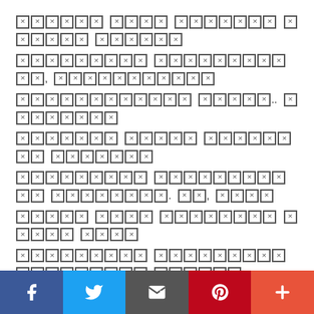[Redacted text content — all characters replaced with redaction blocks in a paragraph of body text]
Social share bar: Facebook, Twitter, Email, Pinterest, More